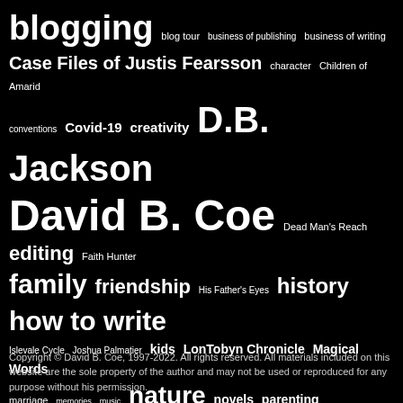[Figure (infographic): Tag cloud on black background listing blog/writing topics in varying font sizes: blogging, blog tour, business of publishing, business of writing, Case Files of Justis Fearsson, character, Children of Amarid, conventions, Covid-19, creativity, D.B. Jackson, David B. Coe, Dead Man's Reach, editing, Faith Hunter, family, friendship, His Father's Eyes, history, how to write, Islevale Cycle, Joshua Palmatier, kids, LonTobyn Chronicle, Magical Words, marriage, memories, music, nature, novels, parenting, photography, politics, publicity, publishing, publishing business, quick-tip Tuesday, short fiction, Spell Blind, Thieftaker, writing, writing advice, writing life, writing tips, Zombies Need Brains]
Copyright © David B. Coe, 1997-2022. All rights reserved. All materials included on this website are the sole property of the author and may not be used or reproduced for any purpose without his permission.